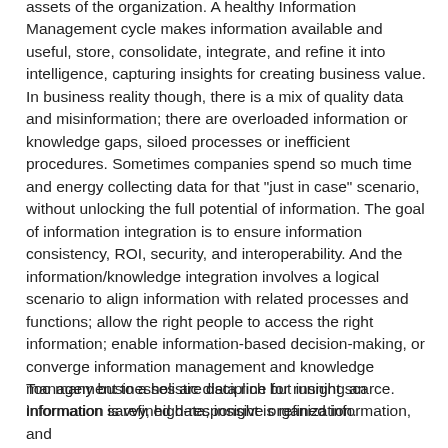assets of the organization. A healthy Information Management cycle makes information available and useful, store, consolidate, integrate, and refine it into intelligence, capturing insights for creating business value. In business reality though, there is a mix of quality data and misinformation; there are overloaded information or knowledge gaps, siloed processes or inefficient procedures. Sometimes companies spend so much time and energy collecting data for that "just in case" scenario, without unlocking the full potential of information. The goal of information integration is to ensure information consistency, ROI, security, and interoperability. And the information/knowledge integration involves a logical scenario to align information with related processes and functions; allow the right people to access the right information; enable information-based decision-making, or converge information management and knowledge management to a holistic discipline for running an information savvy, high-responsive organization.
Too many businesses are data rich but insight scarce. Information is refined data; insight is refined information, and...